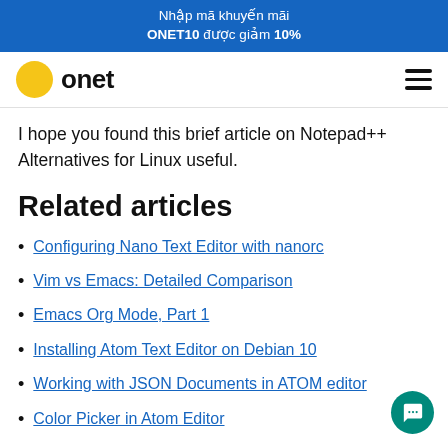Nhập mã khuyến mãi ONET10 được giảm 10%
onet
I hope you found this brief article on Notepad++ Alternatives for Linux useful.
Related articles
Configuring Nano Text Editor with nanorc
Vim vs Emacs: Detailed Comparison
Emacs Org Mode, Part 1
Installing Atom Text Editor on Debian 10
Working with JSON Documents in ATOM editor
Color Picker in Atom Editor